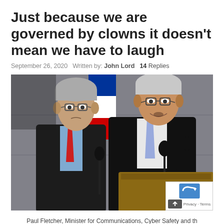Just because we are governed by clowns it doesn't mean we have to laugh
September 26, 2020   Written by: John Lord   14 Replies
[Figure (photo): Two men in dark suits at a press conference podium with microphones. The man on the left has grey hair and glasses and wears a red tie. The man on the right is speaking and wears a light blue tie. An Australian flag is visible in the background.]
Paul Fletcher, Minister for Communications, Cyber Safety and th with Scott Morrison (Image from abc.net.au)